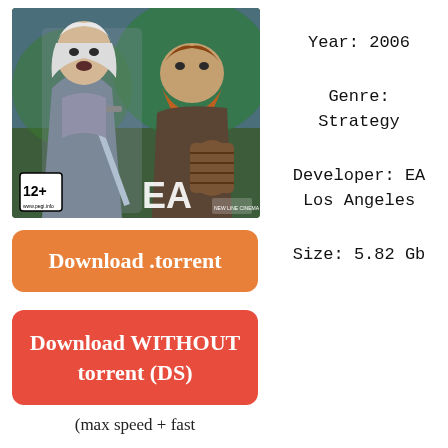[Figure (photo): Game cover art showing fantasy characters (an elf and a dwarf warrior) with EA logo and 12+ rating badge]
Download .torrent
Year: 2006
Genre: Strategy
Developer: EA Los Angeles
Size: 5.82 Gb
Download WITHOUT torrent (DS)
(max speed + fast